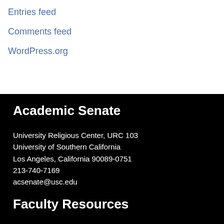Entries feed
Comments feed
WordPress.org
Academic Senate
University Religious Center, URC 103
University of Southern California
Los Angeles, California 90089-0751
213-740-7169
acsenate@usc.edu
Faculty Resources